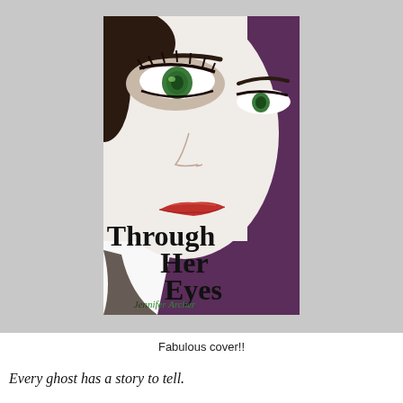[Figure (illustration): Book cover of 'Through Her Eyes' by Jennifer Archer. Features a close-up of a woman's face with striking green eyes, pale skin, red lips, and a dark purple/maroon diagonal swath. Large serif title text reads 'Through Her Eyes' and the author name 'Jennifer Archer' is in green cursive script at the bottom.]
Fabulous cover!!
Every ghost has a story to tell.